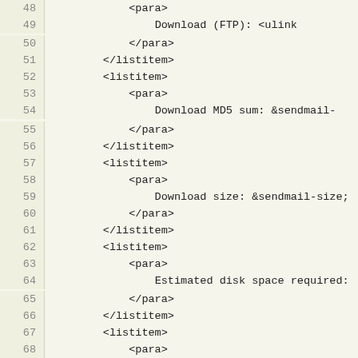Code listing lines 48-68 showing XML markup for sendmail documentation
48    <para>
49        Download (FTP): <ulink url="&sendmail-download-ftp;"/>
50            </para>
51        </listitem>
52        <listitem>
53            <para>
54                Download MD5 sum: &sendmail-md5sum;
55            </para>
56        </listitem>
57        <listitem>
58            <para>
59                Download size: &sendmail-size;
60            </para>
61        </listitem>
62        <listitem>
63            <para>
64                Estimated disk space required: &sendmail-buildsize;
65            </para>
66        </listitem>
67        <listitem>
68            <para>